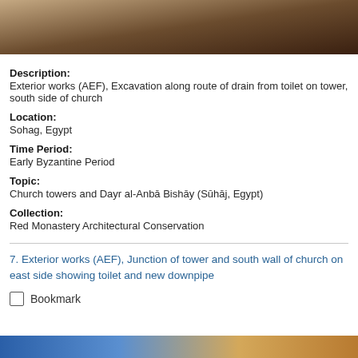[Figure (photo): Top portion of a photograph showing sandy/tan stone surface with dark brown shadow area, part of a building or archaeological site]
Description:
Exterior works (AEF), Excavation along route of drain from toilet on tower, south side of church
Location:
Sohag, Egypt
Time Period:
Early Byzantine Period
Topic:
Church towers and Dayr al-Anbā Bishāy (Sūhāj, Egypt)
Collection:
Red Monastery Architectural Conservation
7. Exterior works (AEF), Junction of tower and south wall of church on east side showing toilet and new downpipe
Bookmark
[Figure (photo): Bottom strip of a photograph showing blue background with partial view of stone or architectural element in warm tones]